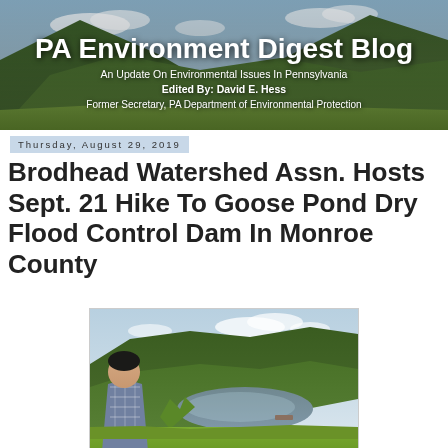[Figure (photo): PA Environment Digest Blog header banner with mountain landscape background showing green forested hills and sky]
PA Environment Digest Blog
An Update On Environmental Issues In Pennsylvania
Edited By: David E. Hess
Former Secretary, PA Department of Environmental Protection
Thursday, August 29, 2019
Brodhead Watershed Assn. Hosts Sept. 21 Hike To Goose Pond Dry Flood Control Dam In Monroe County
[Figure (photo): Person standing and looking out over a pond or reservoir surrounded by forested green hills under a partly cloudy sky]